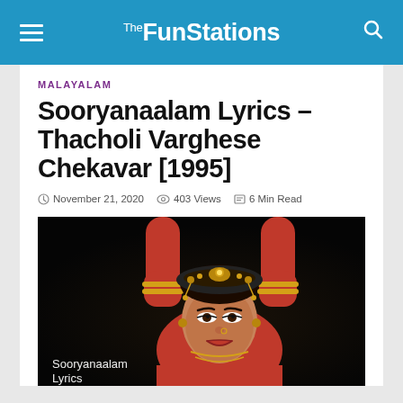The FunStations
MALAYALAM
Sooryanaalam Lyrics – Thacholi Varghese Chekavar [1995]
November 21, 2020   403 Views   6 Min Read
[Figure (photo): A classical Indian dancer wearing traditional jewelry and costume with arms raised, performing a dance pose against a dark background. Caption reads: Sooryanaalam Lyrics]